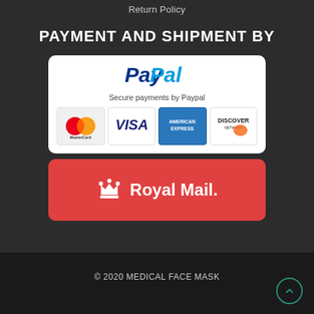Return Policy
PAYMENT AND SHIPMENT BY
[Figure (logo): PayPal payment widget showing PayPal logo, 'Secure payments by Paypal' text, and four card logos: MasterCard, VISA, American Express, Discover Network]
[Figure (logo): Royal Mail logo on red background with crown icon and text 'Royal Mail.']
© 2020 MEDICAL FACE MASK